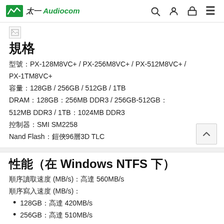太一 Audiocom
[Figure (other): Broken image placeholder icon]
規格
型號：PX-128M8VC+ / PX-256M8VC+ / PX-512M8VC+ / PX-1TM8VC+
容量：128GB / 256GB / 512GB / 1TB
DRAM：128GB：256MB DDR3 / 256GB-512GB：512MB DDR3 / 1TB：1024MB DDR3
控制器：SMI SM2258
Nand Flash：鎧俠96層3D TLC
性能（在 Windows NTFS 下）
順序讀取速度 (MB/s)：高達 560MB/s
順序寫入速度 (MB/s)：
128GB：高達 420MB/s
256GB：高達 510MB/s